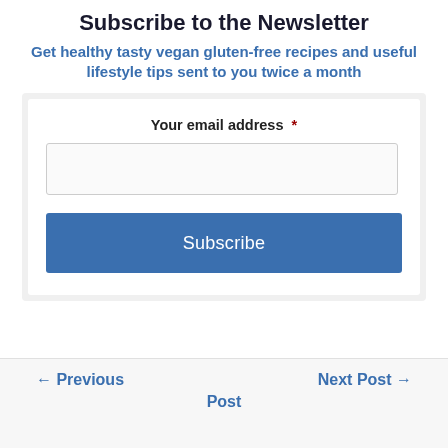Subscribe to the Newsletter
Get healthy tasty vegan gluten-free recipes and useful lifestyle tips sent to you twice a month
Your email address *
Subscribe
← Previous Post   Next Post →